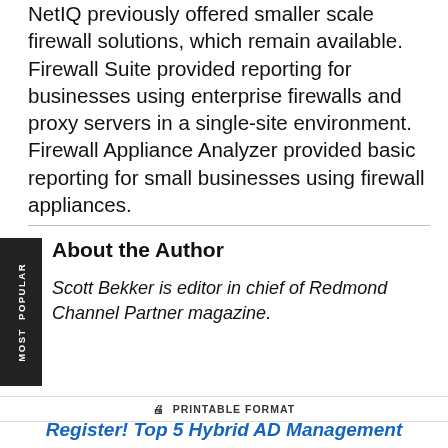NetIQ previously offered smaller scale firewall solutions, which remain available. Firewall Suite provided reporting for businesses using enterprise firewalls and proxy servers in a single-site environment. Firewall Appliance Analyzer provided basic reporting for small businesses using firewall appliances.
About the Author
Scott Bekker is editor in chief of Redmond Channel Partner magazine.
PRINTABLE FORMAT
Register! Top 5 Hybrid AD Management Mistakes and How to Avoid Them